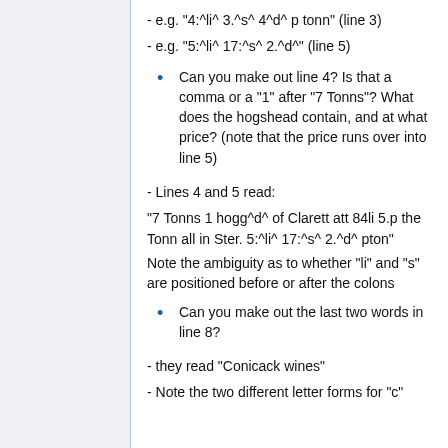- e.g. "4:^li^ 3.^s^ 4^d^ p tonn" (line 3)
- e.g. "5:^li^ 17:^s^ 2.^d^" (line 5)
Can you make out line 4? Is that a comma or a "1" after "7 Tonns"? What does the hogshead contain, and at what price? (note that the price runs over into line 5)
- Lines 4 and 5 read:
"7 Tonns 1 hogg^d^ of Clarett att 84li 5.p the Tonn all in Ster. 5:^li^ 17:^s^ 2.^d^ pton"
Note the ambiguity as to whether "li" and "s" are positioned before or after the colons
Can you make out the last two words in line 8?
- they read "Conicack wines"
- Note the two different letter forms for "c"